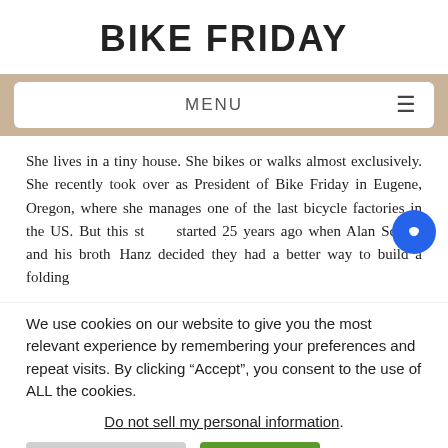BIKE FRIDAY
MENU
She lives in a tiny house. She bikes or walks almost exclusively. She recently took over as President of Bike Friday in Eugene, Oregon, where she manages one of the last bicycle factories in the US. But this sto started 25 years ago when Alan Scholz and his broth Hanz decided they had a better way to build a folding
We use cookies on our website to give you the most relevant experience by remembering your preferences and repeat visits. By clicking “Accept”, you consent to the use of ALL the cookies.
Do not sell my personal information.
Cookie Settings | Accept